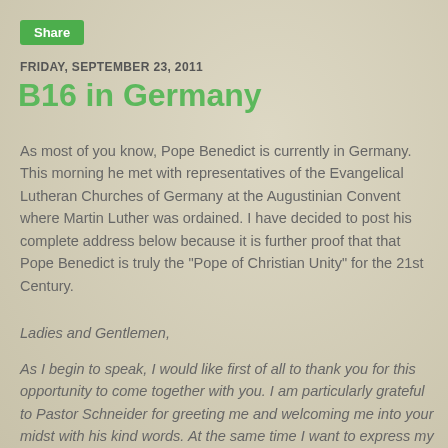Share
FRIDAY, SEPTEMBER 23, 2011
B16 in Germany
As most of you know, Pope Benedict is currently in Germany. This morning he met with representatives of the Evangelical Lutheran Churches of Germany at the Augustinian Convent where Martin Luther was ordained. I have decided to post his complete address below because it is further proof that that Pope Benedict is truly the "Pope of Christian Unity" for the 21st Century.
Ladies and Gentlemen,
As I begin to speak, I would like first of all to thank you for this opportunity to come together with you. I am particularly grateful to Pastor Schneider for greeting me and welcoming me into your midst with his kind words. At the same time I want to express my thanks for the particularly gracious